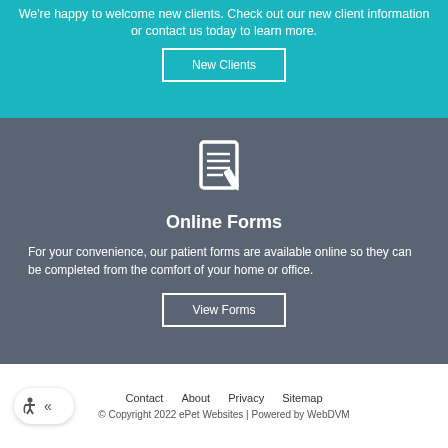We're happy to welcome new clients. Check out our new client information or contact us today to learn more.
New Clients
[Figure (illustration): White icon of a clipboard/form with a checkmark pen, on gray background]
Online Forms
For your convenience, our patient forms are available online so they can be completed from the comfort of your home or office.
View Forms
Contact   About   Privacy   Sitemap
© Copyright 2022 ePet Websites | Powered by WebDVM